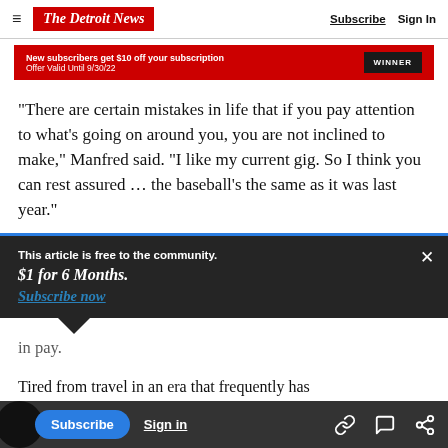The Detroit News — Subscribe | Sign In
[Figure (infographic): Red advertisement banner: 'New subscribers get $10 off your subscription. Offer Valid Until 9/30/22' with a 'WINNER' badge on the right.]
“There are certain mistakes in life that if you pay attention to what’s going on around you, you are not inclined to make,” Manfred said. “I like my current gig. So I think you can rest assured … the baseball’s the same as it was last year.”
This article is free to the community.
$1 for 6 Months.
Subscribe now
in pay.
Tired from travel in an era that frequently has